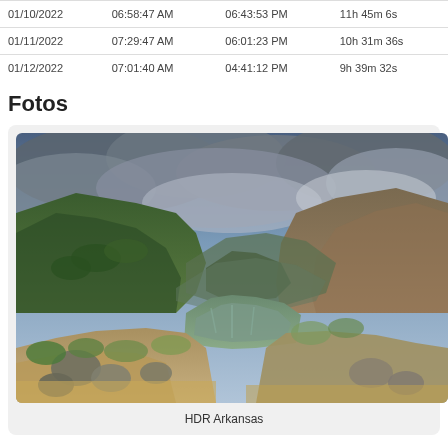| 01/10/2022 | 06:58:47 AM | 06:43:53 PM | 11h 45m 6s |
| 01/11/2022 | 07:29:47 AM | 06:01:23 PM | 10h 31m 36s |
| 01/12/2022 | 07:01:40 AM | 04:41:12 PM | 9h 39m 32s |
Fotos
[Figure (photo): HDR photograph of the Arkansas River running through a rocky canyon with green shrubs and dramatic cloudy sky]
HDR Arkansas